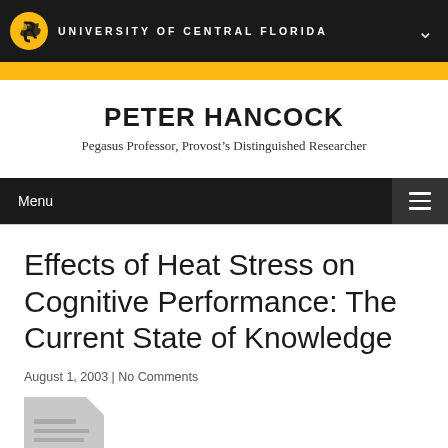UNIVERSITY OF CENTRAL FLORIDA
PETER HANCOCK
Pegasus Professor, Provost's Distinguished Researcher
Menu
Effects of Heat Stress on Cognitive Performance: The Current State of Knowledge
August 1, 2003 | No Comments